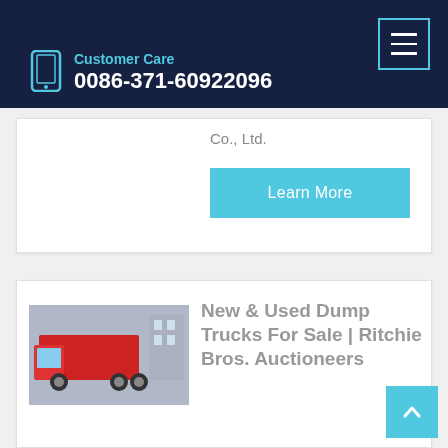Customer Care 0086-371-60922096
Co., Ltd.
Learn More
New & Used Dump Trucks For Sale | Ritchie Bros. Auctioneers
New and used Dump Trucks for sale. Ritchie Bros. is the best source for used dump trucks for sale. More dump trucks added daily, including